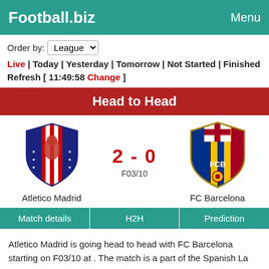Football.biz  Menu
Order by: League
Live | Today | Yesterday | Tomorrow | Not Started | Finished
Refresh [ 11:49:58 Change ]
Head to Head
[Figure (logo): Atletico Madrid crest logo (red and white stripes with bear emblem on navy blue shield)]
2 - 0
F03/10
[Figure (logo): FC Barcelona crest logo (FCB letters, red and blue stripes, yellow shield)]
Atletico Madrid
FC Barcelona
Match details  H2H  Prediction
Atletico Madrid is going head to head with FC Barcelona starting on F03/10 at . The match is a part of the Spanish La Liga.